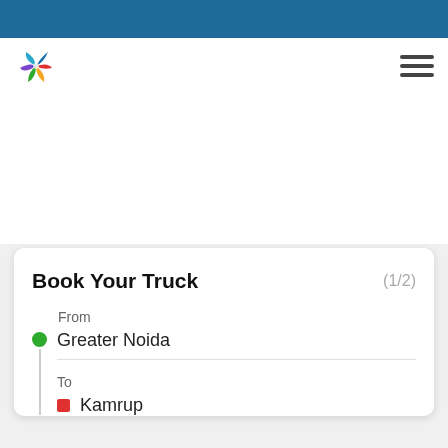[Figure (logo): Colorful pinwheel/star logo in red, blue, green, yellow colors]
Book Your Truck
(1/2)
From
Greater Noida
To
Kamrup